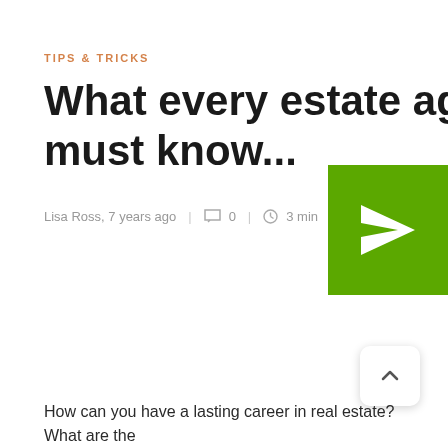TIPS & TRICKS
What every estate agent must know...
Lisa Ross, 7 years ago  |  ☆ 0  |  ⏱ 3 min  |  🔖
[Figure (illustration): Green square with white paper airplane / send icon]
How can you have a lasting career in real estate? What are the